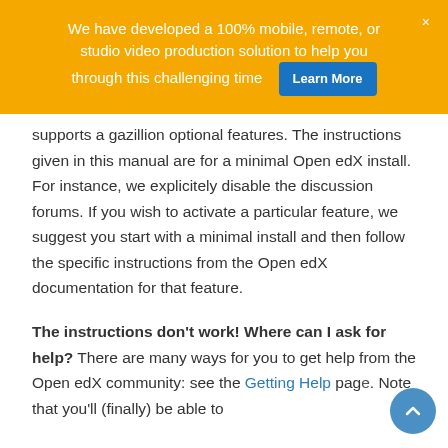We have developed a 100% mobile, remote, or studio video production solution to help you through this challenging time  Learn More  ×
supports a gazillion optional features. The instructions given in this manual are for a minimal Open edX install. For instance, we explicitely disable the discussion forums. If you wish to activate a particular feature, we suggest you start with a minimal install and then follow the specific instructions from the Open edX documentation for that feature.
The instructions don't work! Where can I ask for help? There are many ways for you to get help from the Open edX community: see the Getting Help page. Note that...